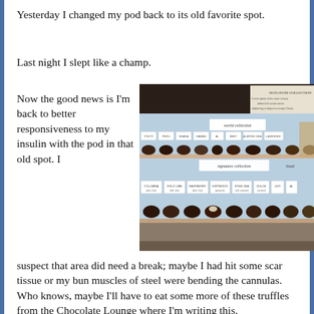Yesterday I changed my pod back to its old favorite spot.
Last night I slept like a champ.
Now the good news is I'm back to better responsiveness to my insulin with the pod in that old spot. I suspect that area did need a break; maybe I had hit some scar tissue or my bun muscles of steel were bending the cannulas. Who knows, maybe I'll have to eat some more of these truffles from the Chocolate Lounge where I'm writing this.
[Figure (photo): Photo of a chocolate display case at a Chocolate Lounge, showing two tiers of chocolate truffles with labels. The top tier shows 'world collection' and the bottom tier shows 'signature collection'.]